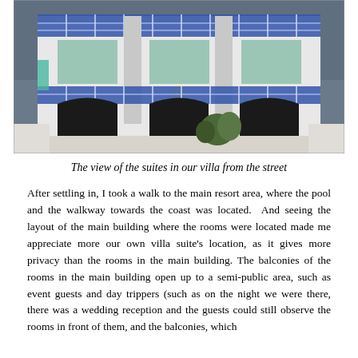[Figure (photo): Exterior view of a white Mediterranean-style villa/hotel building with blue metal railings on two levels of balconies, arched windows, and some landscaping in front. The sky is overcast.]
The view of the suites in our villa from the street
After settling in, I took a walk to the main resort area, where the pool and the walkway towards the coast was located.  And seeing the layout of the main building where the rooms were located made me appreciate more our own villa suite's location, as it gives more privacy than the rooms in the main building. The balconies of the rooms in the main building open up to a semi-public area, such as event guests and day trippers (such as on the night we were there, there was a wedding reception and the guests could still observe the rooms in front of them, and the balconies, which...